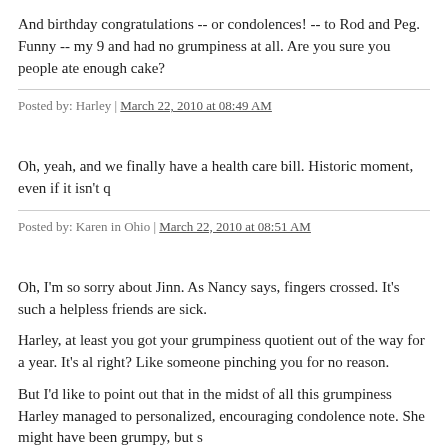And birthday congratulations -- or condolences! -- to Rod and Peg. Funny -- my 9 and had no grumpiness at all. Are you sure you people ate enough cake?
Posted by: Harley | March 22, 2010 at 08:49 AM
Oh, yeah, and we finally have a health care bill. Historic moment, even if it isn't q
Posted by: Karen in Ohio | March 22, 2010 at 08:51 AM
Oh, I'm so sorry about Jinn. As Nancy says, fingers crossed. It's such a helpless friends are sick.
Harley, at least you got your grumpiness quotient out of the way for a year. It's al right? Like someone pinching you for no reason.
But I'd like to point out that in the midst of all this grumpiness Harley managed to personalized, encouraging condolence note. She might have been grumpy, but s
Thank you, honey!
Posted by: Sarah | March 22, 2010 at 09:10 AM
Harley, yes, exactly « la grève » is a magic word, it explains everything. Tomorro transportation and elementary school teachers ones (our teacher doesn't go on s